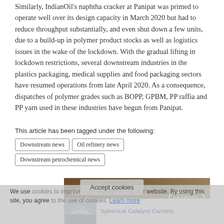Similarly, IndianOil's naphtha cracker at Panipat was primed to operate well over its design capacity in March 2020 but had to reduce throughput substantially, and even shut down a few units, due to a build-up in polymer product stocks as well as logistics issues in the wake of the lockdown. With the gradual lifting in lockdown restrictions, several downstream industries in the plastics packaging, medical supplies and food packaging sectors have resumed operations from late April 2020. As a consequence, dispatches of polymer grades such as BOPP, GPBM, PP raffia and PP yarn used in these industries have begun from Panipat.
[Figure (other): Advertisement banner for Ariel: 'YOUR PERFORMANCE IS OUR PLEDGE' with industrial machinery background and Ariel company logo]
We use cookies to improve your experience on our website. By using this site, you agree to the use of cookies. Learn more
This article has been tagged under the following:
Downstream news
Oil refinery news
Downstream petrochemical news
[Figure (other): Advertisement banner for Spherical Catalyst Carriers with company logo and industrial imagery]